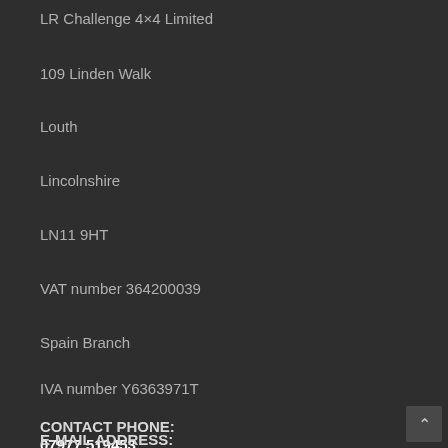LR Challenge 4×4 Limited
109 Linden Walk
Louth
Lincolnshire
LN11 9HT
VAT number 364200039
Spain Branch
IVA number Y6363971T
CONTACT PHONE:
07977 519453
E-MAIL ADDRESS: